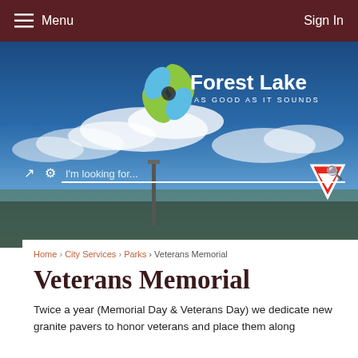Menu  Sign In
[Figure (screenshot): Forest Lake city website hero banner with blue sky and clouds background, showing the Forest Lake logo (flower icon) with text 'Forest Lake AS GOOD AS IT SOUNDS', and a search bar reading 'I'm looking for...']
Home › City Services › Parks › Veterans Memorial
Veterans Memorial
Twice a year (Memorial Day & Veterans Day) we dedicate new granite pavers to honor veterans and place them along